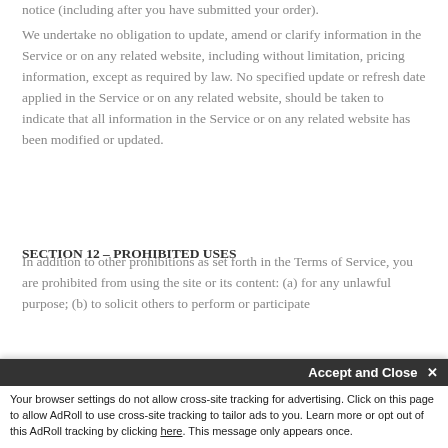notice (including after you have submitted your order).
We undertake no obligation to update, amend or clarify information in the Service or on any related website, including without limitation, pricing information, except as required by law. No specified update or refresh date applied in the Service or on any related website, should be taken to indicate that all information in the Service or on any related website has been modified or updated.
SECTION 12 – PROHIBITED USES
In addition to other prohibitions as set forth in the Terms of Service, you are prohibited from using the site or its content: (a) for any unlawful purpose; (b) to solicit others to perform or participate
Accept and Close ✕
Your browser settings do not allow cross-site tracking for advertising. Click on this page to allow AdRoll to use cross-site tracking to tailor ads to you. Learn more or opt out of this AdRoll tracking by clicking here. This message only appears once.